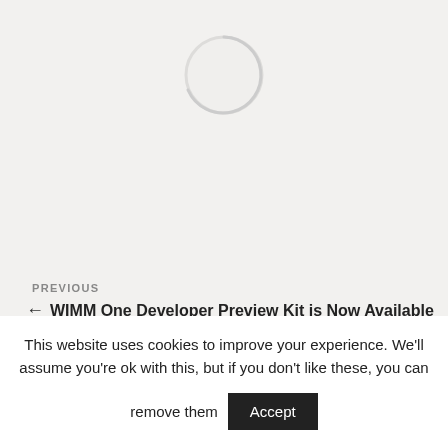[Figure (other): A circular loading spinner graphic centered near the top of the page on a light gray background.]
PREVIOUS
← WIMM One Developer Preview Kit is Now Available
This website uses cookies to improve your experience. We'll assume you're ok with this, but if you don't like these, you can remove them
Accept